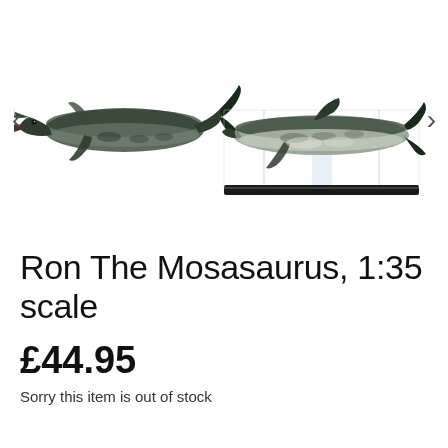[Figure (photo): Two views of a Mosasaurus scale model figure. Left view shows the dinosaur in profile with open jaws and dark greenish-grey coloring. Right view shows the same model displayed on a clear acrylic stand with black base, showing underside lighter coloring. Navigation arrows (< and >) appear on left and right edges.]
Ron The Mosasaurus, 1:35 scale
£44.95
Sorry this item is out of stock